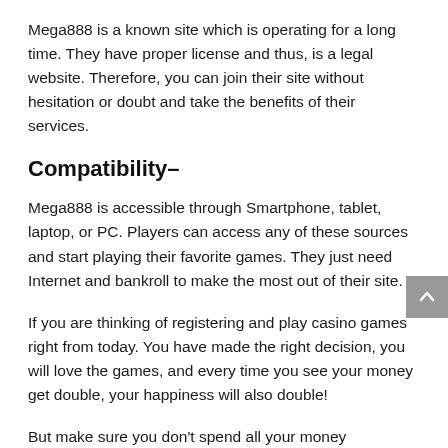Mega888 is a known site which is operating for a long time. They have proper license and thus, is a legal website. Therefore, you can join their site without hesitation or doubt and take the benefits of their services.
Compatibility–
Mega888 is accessible through Smartphone, tablet, laptop, or PC. Players can access any of these sources and start playing their favorite games. They just need Internet and bankroll to make the most out of their site.
If you are thinking of registering and play casino games right from today. You have made the right decision, you will love the games, and every time you see your money get double, your happiness will also double!
But make sure you don't spend all your money